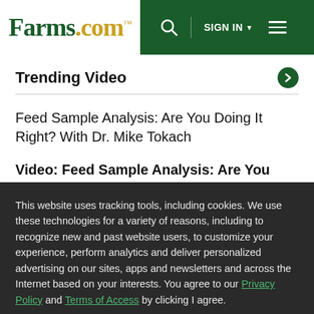Farms.com™ — SIGN IN ☰
Trending Video
Feed Sample Analysis: Are You Doing It Right? With Dr. Mike Tokach
Video: Feed Sample Analysis: Are You Doing It Right? With Dr. Mike Tokach
This website uses tracking tools, including cookies. We use these technologies for a variety of reasons, including to recognize new and past website users, to customize your experience, perform analytics and deliver personalized advertising on our sites, apps and newsletters and across the Internet based on your interests. You agree to our Privacy Policy and Terms of Access by clicking I agree.